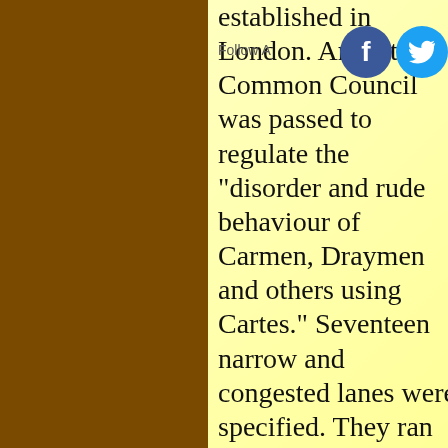established in London. An Act of Common Council was passed to regulate the "disorder and rude behaviour of Carmen, Draymen and others using Cartes." Seventeen narrow and congested lanes were specified. They ran into Thames Street, including Pudding Lane (where the Great Fire of London began in 1667), "No Carter or Carman to come
This website uses cookies to deliver its content, to show relevant ads and to analyze its traffic. Learn More